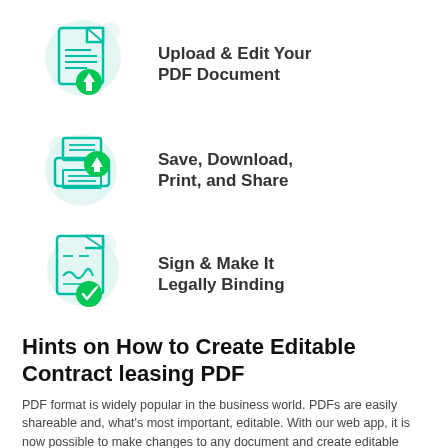[Figure (illustration): Teal icon of a document with lines and an upward arrow badge (upload)]
Upload & Edit Your PDF Document
[Figure (illustration): Teal icon of a printer with a downward arrow badge (download/print)]
Save, Download, Print, and Share
[Figure (illustration): Teal icon of a document with a signature and a checkmark badge (sign)]
Sign & Make It Legally Binding
Hints on How to Create Editable Contract leasing PDF
PDF format is widely popular in the business world. PDFs are easily shareable and, what's most important, editable. With our web app, it is now possible to make changes to any document and create editable Contract leasing PDF without installing any browser extensions or plug-ins.